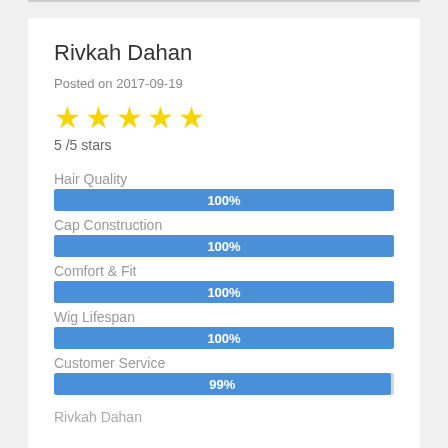Rivkah Dahan
Posted on 2017-09-19
[Figure (other): 5 yellow star rating icons]
5 /5 stars
Hair Quality
[Figure (bar-chart): Category Ratings]
Rivkah Dahan